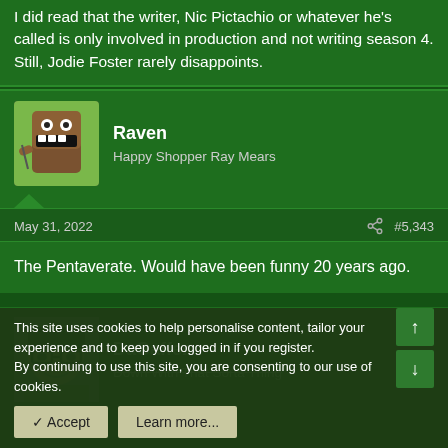I did read that the writer, Nic Pictachio or whatever he's called is only involved in production and not writing season 4. Still, Jodie Foster rarely disappoints.
Raven
Happy Shopper Ray Mears
May 31, 2022  #5,343
The Pentaverate. Would have been funny 20 years ago.
DaGaffer
Down With That Sorta Thing
This site uses cookies to help personalise content, tailor your experience and to keep you logged in if you register.
By continuing to use this site, you are consenting to our use of cookies.